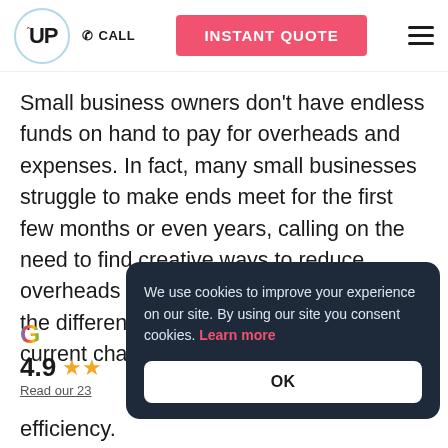UP | CALL | INSTANT QUOTE
Small business owners don't have endless funds on hand to pay for overheads and expenses. In fact, many small businesses struggle to make ends meet for the first few months or even years, calling on the need to find creative ways to reduce overheads and expenses. Understanding the difference between fixe current cha
[Figure (other): Google G logo with rating 4.9 stars and Read our 23 reviews link]
efficiency.
We use cookies to improve your experience on our site. By using our site you consent cookies. Learn more
OK